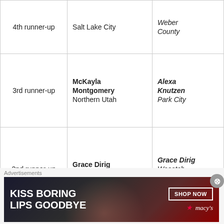|  | Name / Region (current year) | Name / Region (previous year) |
| --- | --- | --- |
| 4th runner-up | Salt Lake City | Weber County |
| 3rd runner-up | McKayla Montgomery
Northern Utah | Alexa Knutzen
Park City |
| 2nd runner-up | Grace Dirig
Wasatch County | Grace Dirig
Wasatch County |
| 1st runner-up | Madison Jonely
Topaz State | Erika Dalton
Rocky Mountains |
| Miss Utah USA | Elisabeth Gandara Bradley | JessiKate Riley |
Advertisements
[Figure (photo): Advertisement banner for Macy's: 'KISS BORING LIPS GOODBYE' with SHOP NOW button and Macy's star logo, woman's face with lipstick]